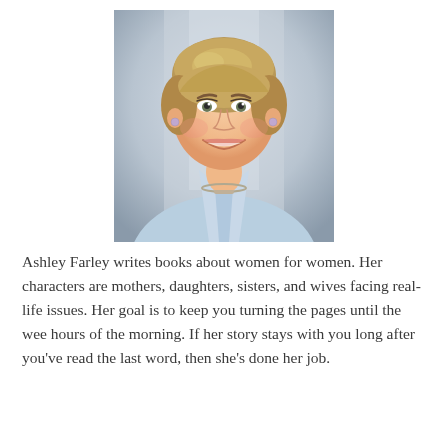[Figure (photo): Author headshot of Ashley Farley, a woman with short blonde-brown hair, smiling, wearing a light blue blouse and silver necklace, professional studio photo with soft blurred background.]
Ashley Farley writes books about women for women. Her characters are mothers, daughters, sisters, and wives facing real-life issues. Her goal is to keep you turning the pages until the wee hours of the morning. If her story stays with you long after you've read the last word, then she's done her job.